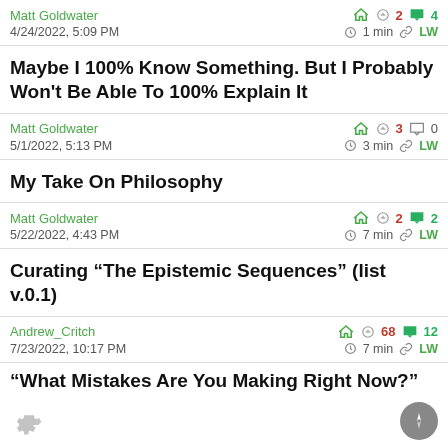Matt Goldwater | 4/24/2022, 5:09 PM | karma: 2 | comments: 4 | 1 min | LW
Maybe I 100% Know Something. But I Probably Won't Be Able To 100% Explain It
Matt Goldwater | 5/1/2022, 5:13 PM | karma: 3 | comments: 0 | 3 min | LW
My Take On Philosophy
Matt Goldwater | 5/22/2022, 4:43 PM | karma: 2 | comments: 2 | 7 min | LW
Curating “The Epistemic Sequences” (list v.0.1)
Andrew_Critch | 7/23/2022, 10:17 PM | karma: 68 | comments: 12 | 7 min | LW
“What Mistakes Are You Making Right Now?”